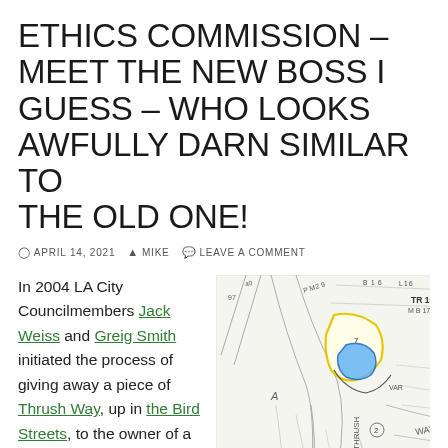ETHICS COMMISSION – MEET THE NEW BOSS I GUESS – WHO LOOKS AWFULLY DARN SIMILAR TO THE OLD ONE!
APRIL 14, 2021  MIKE  LEAVE A COMMENT
In 2004 LA City Councilmembers Jack Weiss and Greig Smith initiated the process of giving away a piece of Thrush Way, up in the Bird Streets, to the owner of a caller at use d...
[Figure (map): A land parcel map showing Thrush Way in the Bird Streets area of Los Angeles. Features a blue highlighted parcel and yellow boundary lines, with street and parcel labels. Shows TR 10416, M B 172-25, and various lot numbers.]